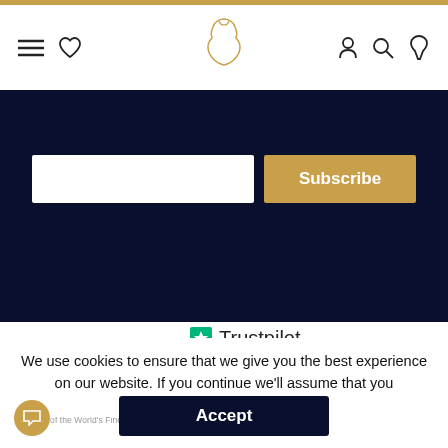Navigation bar with menu, wishlist, logo, account, search, and guitar icons
[Figure (screenshot): Dark navy blue subscription section with email input field and Subscribe button]
[Figure (logo): The North American Guitar logo - guitar shape outline in gold with text 'The North American Guitar' and tagline 'Home of the World's Finest Guitars']
[Figure (infographic): Trustpilot rating widget showing 5 green stars, TrustScore 4.9, 408 reviews]
We use cookies to ensure that we give you the best experience on our website. If you continue we'll assume that you understand this. Learn more
Accept